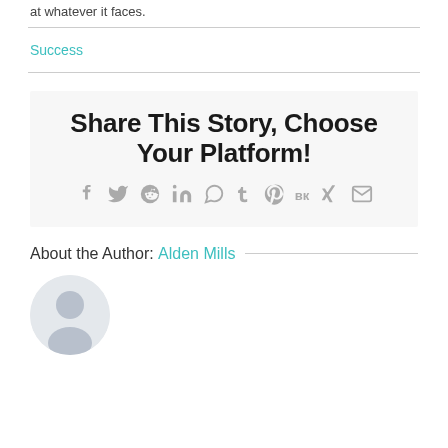at whatever it faces.
Success
[Figure (infographic): Share This Story, Choose Your Platform! box with social media icons: Facebook, Twitter, Reddit, LinkedIn, WhatsApp, Tumblr, Pinterest, VK, XING, Email]
About the Author: Alden Mills
[Figure (illustration): Generic author avatar circle with placeholder person silhouette icon]